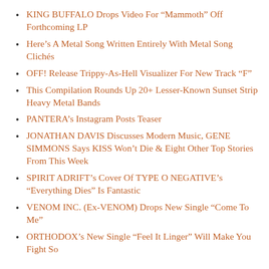KING BUFFALO Drops Video For “Mammoth” Off Forthcoming LP
Here’s A Metal Song Written Entirely With Metal Song Clichés
OFF! Release Trippy-As-Hell Visualizer For New Track “F”
This Compilation Rounds Up 20+ Lesser-Known Sunset Strip Heavy Metal Bands
PANTERA’s Instagram Posts Teaser
JONATHAN DAVIS Discusses Modern Music, GENE SIMMONS Says KISS Won’t Die & Eight Other Top Stories From This Week
SPIRIT ADRIFT’s Cover Of TYPE O NEGATIVE’s “Everything Dies” Is Fantastic
VENOM INC. (Ex-VENOM) Drops New Single “Come To Me”
ORTHODOX’s New Single “Feel It Linger” Will Make You Fight Someone